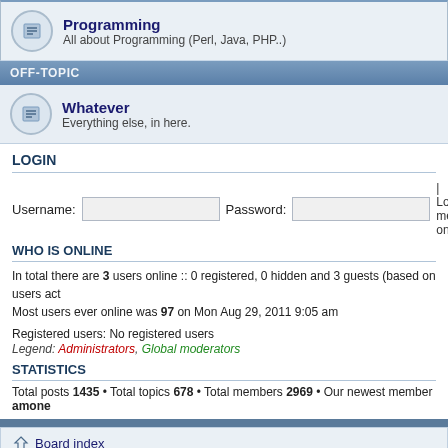Programming — All about Programming (Perl, Java, PHP..)
OFF-TOPIC
Whatever — Everything else, in here.
LOGIN
Username:  Password:  | Log me on
WHO IS ONLINE
In total there are 3 users online :: 0 registered, 0 hidden and 3 guests (based on users act
Most users ever online was 97 on Mon Aug 29, 2011 9:05 am
Registered users: No registered users
Legend: Administrators, Global moderators
STATISTICS
Total posts 1435 • Total topics 678 • Total members 2969 • Our newest member amone
Board index
Powered by phpBB® Forum Software